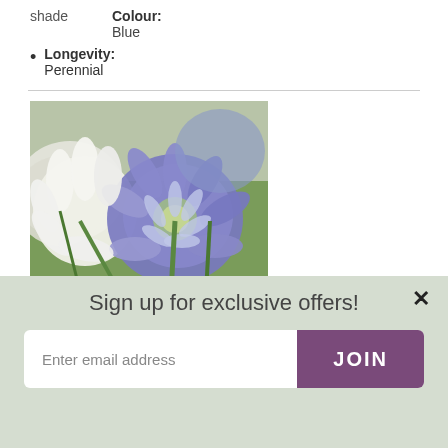shade    Colour: Blue
Longevity: Perennial
[Figure (photo): Close-up photo of Agapanthus Blue & White flowers with purple-blue and white blooms against green stems, with a Thompson & Morgan logo in lower-left corner.]
Agapanthus Blue & White
Sign up for exclusive offers!
Enter email address
JOIN